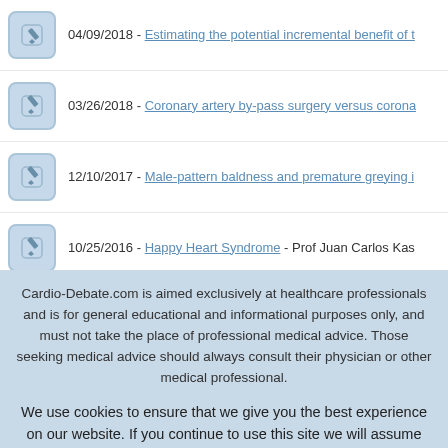04/09/2018 - Estimating the potential incremental benefit of t
03/26/2018 - Coronary artery by-pass surgery versus corona
12/10/2017 - Male-pattern baldness and premature greying i
10/25/2016 - Happy Heart Syndrome - Prof Juan Carlos Kas
10/17/2016 - Cardiac imaging in CAD: Too much of a good th
Cardio-Debate.com is aimed exclusively at healthcare professionals and is for general educational and informational purposes only, and must not take the place of professional medical advice. Those seeking medical advice should always consult their physician or other medical professional.
We use cookies to ensure that we give you the best experience on our website. If you continue to use this site we will assume that you are happy with it.
Accept